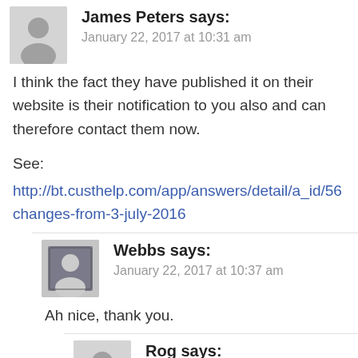James Peters says:
January 22, 2017 at 10:31 am
I think the fact they have published it on their website is their notification to you also and can therefore contact them now.
See:
http://bt.custhelp.com/app/answers/detail/a_id/56 changes-from-3-july-2016
Webbs says:
January 22, 2017 at 10:37 am
Ah nice, thank you.
Rog says:
January 22, 2017 at 12:25 pm